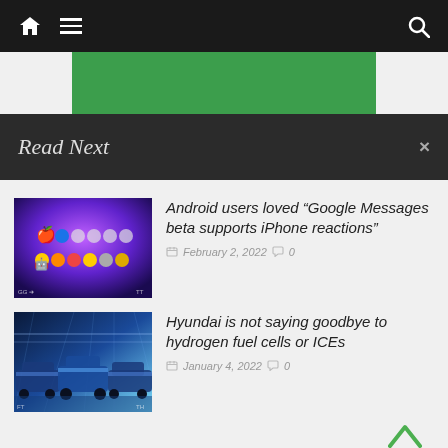Navigation bar with home, menu, and search icons
[Figure (other): Green advertisement banner block]
Read Next
[Figure (photo): Android and Apple emoji reactions screenshot with purple background]
Android users loved “Google Messages beta supports iPhone reactions”
February 2, 2022   0
[Figure (photo): Hyundai cars in a blue-lit futuristic showroom]
Hyundai is not saying goodbye to hydrogen fuel cells or ICEs
January 4, 2022   0